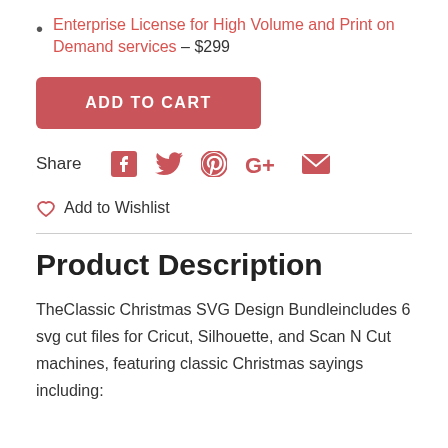Enterprise License for High Volume and Print on Demand services – $299
ADD TO CART
Share [Facebook] [Twitter] [Pinterest] [Google+] [Email]
Add to Wishlist
Product Description
TheClassic Christmas SVG Design Bundleincludes 6 svg cut files for Cricut, Silhouette, and Scan N Cut machines, featuring classic Christmas sayings including: